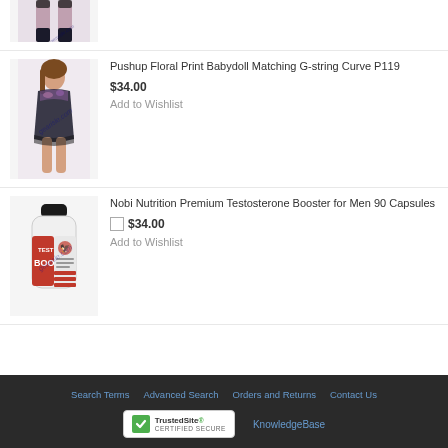[Figure (photo): Partial product image at top — cropped lingerie photo with watermark]
[Figure (photo): Woman wearing floral print babydoll lingerie with G-string, watermark overlay]
Pushup Floral Print Babydoll Matching G-string Curve P119
$34.00
Add to Wishlist
[Figure (photo): TEST BOOST supplement bottle — Nobi Nutrition Premium Testosterone Booster for Men 90 Capsules, with watermark]
Nobi Nutrition Premium Testosterone Booster for Men 90 Capsules
$34.00
Add to Wishlist
Search Terms  Advanced Search  Orders and Returns  Contact Us  KnowledgeBase  TrustedSite CERTIFIED SECURE